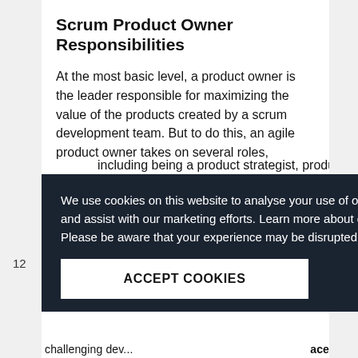Scrum Product Owner Responsibilities
At the most basic level, a product owner is the leader responsible for maximizing the value of the products created by a scrum development team. But to do this, an agile product owner takes on several roles, including being a product strategist, product...
We use cookies on this website to analyse your use of our products and services, provide content from third parties and assist with our marketing efforts. Learn more about our use of cookies and available controls: cookie policy. Please be aware that your experience may be disrupted until you accept cookies.
ACCEPT COOKIES
12